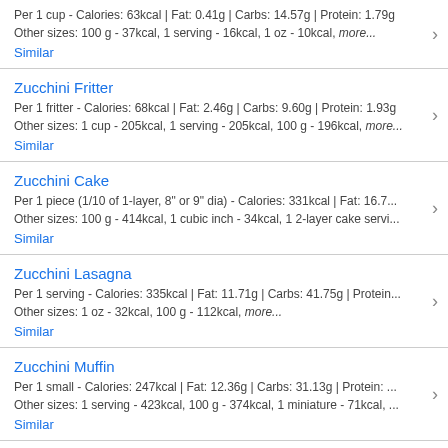Per 1 cup - Calories: 63kcal | Fat: 0.41g | Carbs: 14.57g | Protein: 1.79g
Other sizes: 100 g - 37kcal, 1 serving - 16kcal, 1 oz - 10kcal, more...
Similar
Zucchini Fritter
Per 1 fritter - Calories: 68kcal | Fat: 2.46g | Carbs: 9.60g | Protein: 1.93g
Other sizes: 1 cup - 205kcal, 1 serving - 205kcal, 100 g - 196kcal, more...
Similar
Zucchini Cake
Per 1 piece (1/10 of 1-layer, 8" or 9" dia) - Calories: 331kcal | Fat: 16.7...
Other sizes: 100 g - 414kcal, 1 cubic inch - 34kcal, 1 2-layer cake servi...
Similar
Zucchini Lasagna
Per 1 serving - Calories: 335kcal | Fat: 11.71g | Carbs: 41.75g | Protein...
Other sizes: 1 oz - 32kcal, 100 g - 112kcal, more...
Similar
Zucchini Muffin
Per 1 small - Calories: 247kcal | Fat: 12.36g | Carbs: 31.13g | Protein: ...
Other sizes: 1 serving - 423kcal, 100 g - 374kcal, 1 miniature - 71kcal, ...
Similar